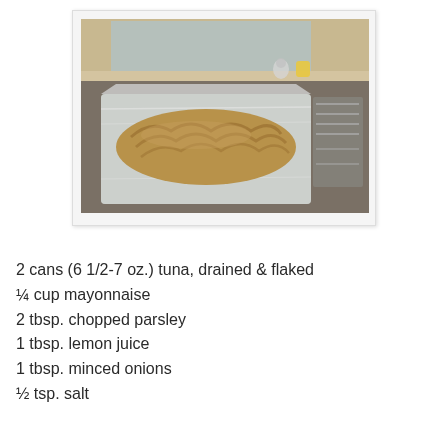[Figure (photo): A tuna loaf or meatloaf-like dish wrapped in aluminum foil in a baking pan, sitting on a kitchen counter near a window and a dish drying rack.]
2 cans (6 1/2-7 oz.) tuna, drained & flaked
¼ cup mayonnaise
2 tbsp. chopped parsley
1 tbsp. lemon juice
1 tbsp. minced onions
½ tsp. salt